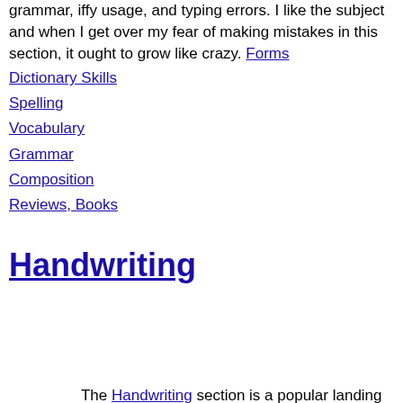grammar, iffy usage, and typing errors. I like the subject and when I get over my fear of making mistakes in this section, it ought to grow like crazy. Forms
Dictionary Skills
Spelling
Vocabulary
Grammar
Composition
Reviews, Books
Handwriting
The Handwriting section is a popular landing page. I have printable ruled paper, handwriting lessons, animations, font links, & tips. Handwriting is a large section.
By Style
Beginning Manuscript